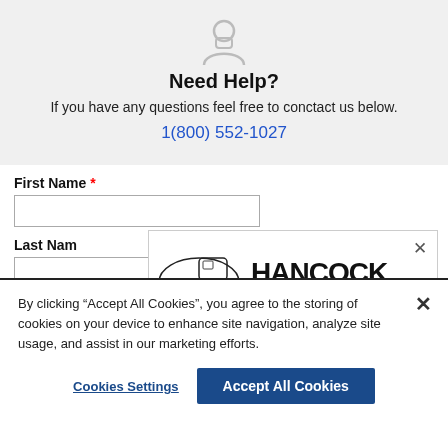[Figure (illustration): Gray silhouette icon of a person/customer service agent]
Need Help?
If you have any questions feel free to conctact us below.
1(800) 552-1027
First Name *
Last Name
[Figure (logo): Hancock Seed Company logo with combine harvester illustration and bold HANCOCK SEED COMPANY text]
By clicking “Accept All Cookies”, you agree to the storing of cookies on your device to enhance site navigation, analyze site usage, and assist in our marketing efforts.
Cookies Settings
Accept All Cookies